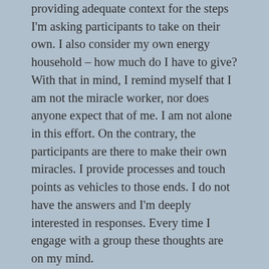providing adequate context for the steps I'm asking participants to take on their own. I also consider my own energy household – how much do I have to give? With that in mind, I remind myself that I am not the miracle worker, nor does anyone expect that of me. I am not alone in this effort. On the contrary, the participants are there to make their own miracles. I provide processes and touch points as vehicles to those ends. I do not have the answers and I'm deeply interested in responses. Every time I engage with a group these thoughts are on my mind.
As I have recently been called to facilitate specifically in and around the umbrella of Diversity, Equity and Inclusion (DEI), my mantra